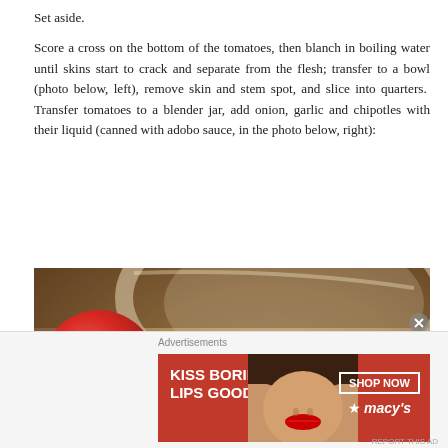Set aside.
Score a cross on the bottom of the tomatoes, then blanch in boiling water until skins start to crack and separate from the flesh; transfer to a bowl (photo below, left), remove skin and stem spot, and slice into quarters.  Transfer tomatoes to a blender jar, add onion, garlic and chipotles with their liquid (canned with adobo sauce, in the photo below, right):
[Figure (photo): Close-up photo of red tomatoes in a metal pot with boiling water]
Advertisements
[Figure (photo): Macy's advertisement banner: KISS BORING LIPS GOODBYE with a woman's face and red lips, SHOP NOW button and Macy's star logo]